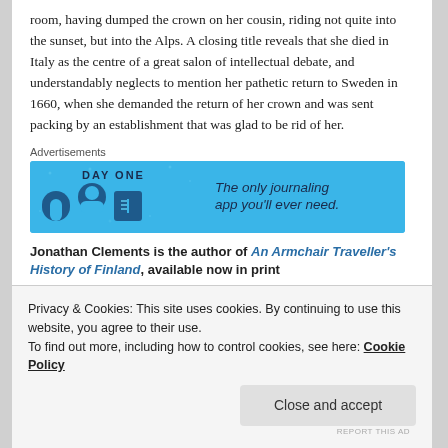room, having dumped the crown on her cousin, riding not quite into the sunset, but into the Alps. A closing title reveals that she died in Italy as the centre of a great salon of intellectual debate, and understandably neglects to mention her pathetic return to Sweden in 1660, when she demanded the return of her crown and was sent packing by an establishment that was glad to be rid of her.
Advertisements
[Figure (infographic): Day One app advertisement banner: blue background with cartoon icons and text 'The only journaling app you'll ever need.']
Jonathan Clements is the author of An Armchair Traveller's History of Finland, available now in print
Privacy & Cookies: This site uses cookies. By continuing to use this website, you agree to their use.
To find out more, including how to control cookies, see here: Cookie Policy
Close and accept